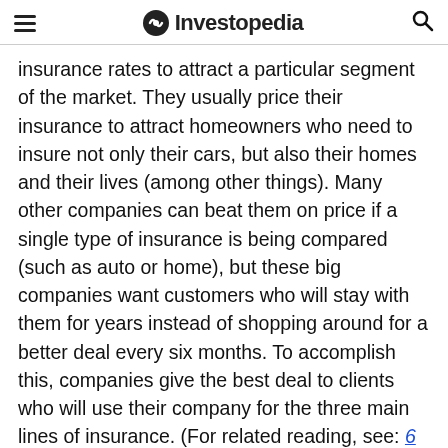Investopedia
insurance rates to attract a particular segment of the market. They usually price their insurance to attract homeowners who need to insure not only their cars, but also their homes and their lives (among other things). Many other companies can beat them on price if a single type of insurance is being compared (such as auto or home), but these big companies want customers who will stay with them for years instead of shopping around for a better deal every six months. To accomplish this, companies give the best deal to clients who will use their company for the three main lines of insurance. (For related reading, see: 6 Ways to Save on Insurance.)
[Figure (other): Better Mortgage advertisement banner: 'Better' logo in green, tagline 'Mortgages made easy', green 'Get started' button, Better Mortgage Corp NMLS #330511]